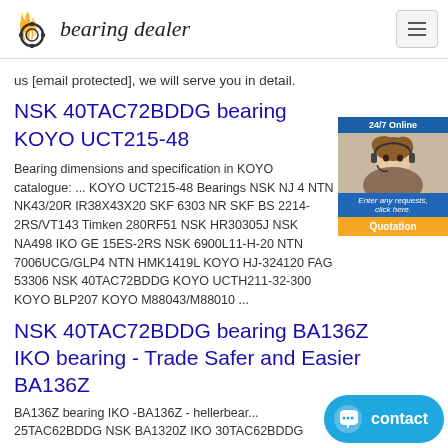bearing dealer
us [email protected], we will serve you in detail.
NSK 40TAC72BDDG bearing KOYO UCT215-48
Bearing dimensions and specification in KOYO catalogue: ... KOYO UCT215-48 Bearings NSK NJ 4 NTN NK43/20R IR38X43X20 SKF 6303 NR SKF BS 2214-2RS/VT143 Timken 280RF51 NSK HR30305J NSK NA498 IKO GE 15ES-2RS NSK 6900L11-H-20 NTN 7006UCG/GLP4 NTN HMK1419L KOYO HJ-324120 FAG 53306 NSK 40TAC72BDDG KOYO UCTH211-32-300 KOYO BLP207 KOYO M88043/M88010 ...
NSK 40TAC72BDDG bearing BA136Z IKO bearing - Trade Safer and Easier BA136Z
BA136Z bearing IKO -BA136Z - hellerbear... 25TAC62BDDG NSK BA1320Z IKO 30TAC62BDDG